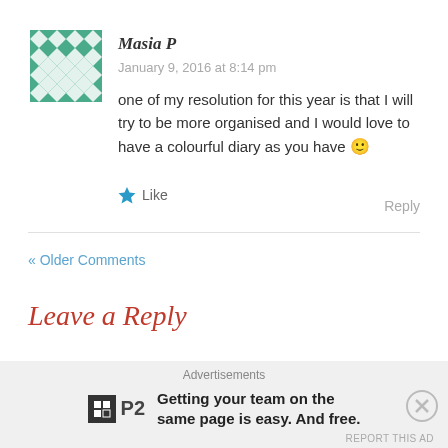[Figure (illustration): Green and white geometric/diamond pattern avatar icon in a square]
Masia P
January 9, 2016 at 8:14 pm
one of my resolution for this year is that I will try to be more organised and I would love to have a colourful diary as you have 🙂
Like
Reply
« Older Comments
Leave a Reply
Advertisements
Getting your team on the same page is easy. And free.